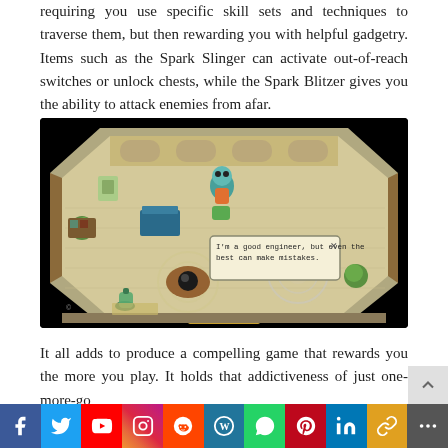requiring you use specific skill sets and techniques to traverse them, but then rewarding you with helpful gadgetry. Items such as the Spark Slinger can activate out-of-reach switches or unlock chests, while the Spark Blitzer gives you the ability to attack enemies from afar.
[Figure (screenshot): Isometric RPG game screenshot showing an octagonal room with characters, dialogue box reading 'I'm a good engineer, but even the best can make mistakes.']
It all adds to produce a compelling game that rewards you the more you play. It holds that addictiveness of just one-more-go
Social sharing bar: Facebook, Twitter, YouTube, Instagram, Reddit, WordPress, WhatsApp, Pinterest, LinkedIn, Copy link, More